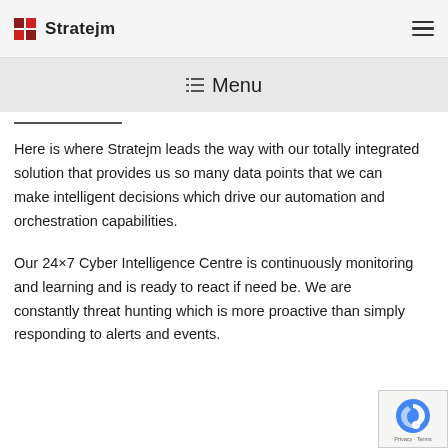Stratejm [logo] — hamburger menu icon
☰ Menu
Here is where Stratejm leads the way with our totally integrated solution that provides us so many data points that we can make intelligent decisions which drive our automation and orchestration capabilities.
Our 24×7 Cyber Intelligence Centre is continuously monitoring and learning and is ready to react if need be. We are constantly threat hunting which is more proactive than simply responding to alerts and events.